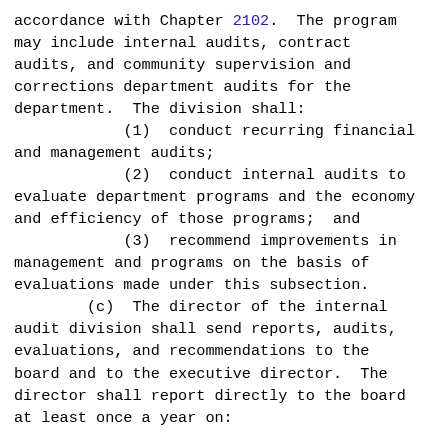accordance with Chapter 2102.  The program may include internal audits, contract audits, and community supervision and corrections department audits for the department.  The division shall:
        (1)  conduct recurring financial and management audits;
        (2)  conduct internal audits to evaluate department programs and the economy and efficiency of those programs;  and
        (3)  recommend improvements in management and programs on the basis of evaluations made under this subsection.
        (c)  The director of the internal audit division shall send reports, audits, evaluations, and recommendations to the board and to the executive director.  The director shall report directly to the board at least once a year on: